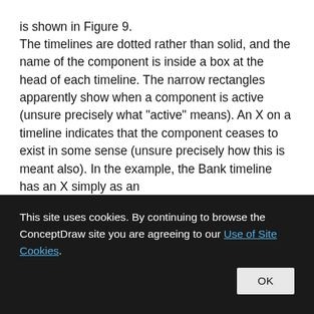is shown in Figure 9. The timelines are dotted rather than solid, and the name of the component is inside a box at the head of each timeline. The narrow rectangles apparently show when a component is active (unsure precisely what "active" means). An X on a timeline indicates that the component ceases to exist in some sense (unsure precisely how this is meant also). In the example, the Bank timeline has an X simply as an
This site uses cookies. By continuing to browse the ConceptDraw site you are agreeing to our Use of Site Cookies.